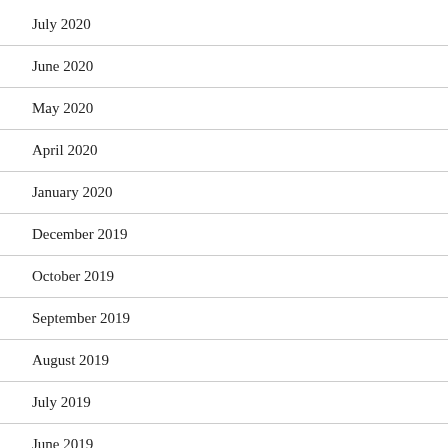July 2020
June 2020
May 2020
April 2020
January 2020
December 2019
October 2019
September 2019
August 2019
July 2019
June 2019